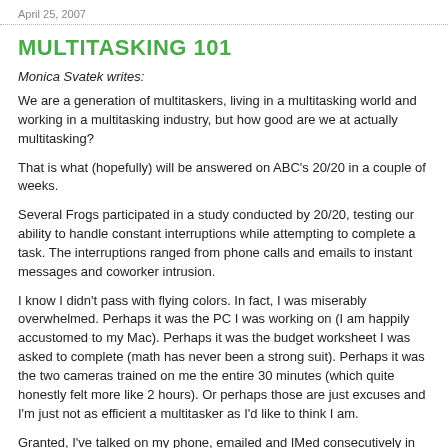April 25, 2007
MULTITASKING 101
Monica Svatek writes:
We are a generation of multitaskers, living in a multitasking world and working in a multitasking industry, but how good are we at actually multitasking?
That is what (hopefully) will be answered on ABC's 20/20 in a couple of weeks.
Several Frogs participated in a study conducted by 20/20, testing our ability to handle constant interruptions while attempting to complete a task. The interruptions ranged from phone calls and emails to instant messages and coworker intrusion.
I know I didn't pass with flying colors. In fact, I was miserably overwhelmed. Perhaps it was the PC I was working on (I am happily accustomed to my Mac). Perhaps it was the budget worksheet I was asked to complete (math has never been a strong suit). Perhaps it was the two cameras trained on me the entire 30 minutes (which quite honestly felt more like 2 hours). Or perhaps those are just excuses and I'm just not as efficient a multitasker as I'd like to think I am.
Granted, I've talked on my phone, emailed and IMed consecutively in the past, but am I really being as productive and efficient as I could be if I simply handled